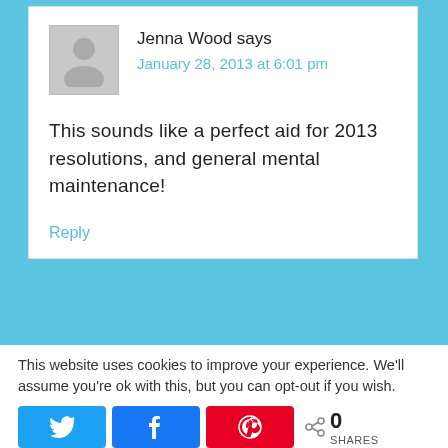Jenna Wood says
January 28, 2013 at 6:01 pm
This sounds like a perfect aid for 2013 resolutions, and general mental maintenance!
Reply
This website uses cookies to improve your experience. We'll assume you're ok with this, but you can opt-out if you wish.
0 SHARES